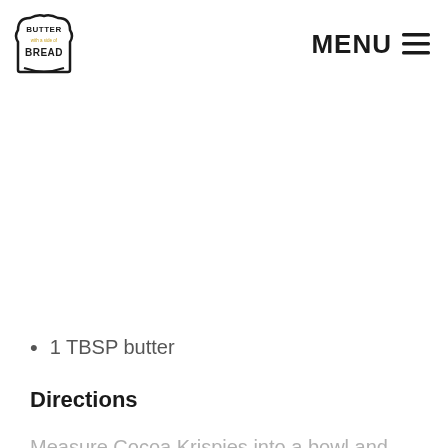[Figure (logo): Butter with a side of Bread logo - bread/toast shape outline with text inside]
MENU ☰
1 TBSP butter
Directions
Measure Cocoa Krispies into a bowl and set